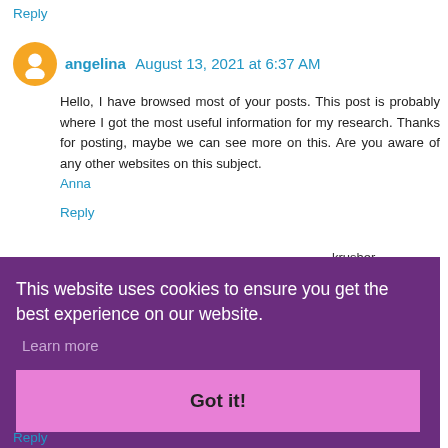Reply
angelina  August 13, 2021 at 6:37 AM
Hello, I have browsed most of your posts. This post is probably where I got the most useful information for my research. Thanks for posting, maybe we can see more on this. Are you aware of any other websites on this subject. Anna
Reply
This website uses cookies to ensure you get the best experience on our website. Learn more Got it!
krusher, nchester, butors to es, vape raporizer
Reply